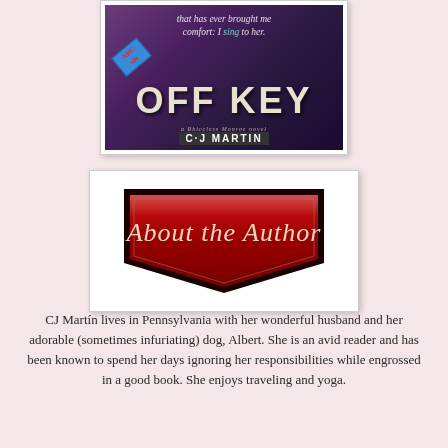[Figure (illustration): Book cover for 'Off Key' by CJ Martin showing hands playing a saxophone with the text 'that has ever brought me comfort: I sing to her.' and the title OFF KEY]
[Figure (illustration): Red shield/badge shaped button with cursive text reading 'About the Author']
CJ Martín lives in Pennsylvania with her wonderful husband and her adorable (sometimes infuriating) dog, Albert. She is an avid reader and has been known to spend her days ignoring her responsibilities while engrossed in a good book. She enjoys traveling and yoga.